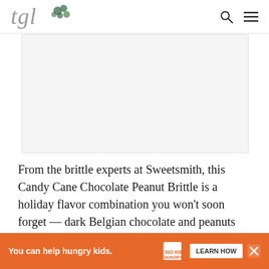tgl [logo with green leaves]
[Figure (photo): Light gray rectangular placeholder image area for an article photo, located below the navigation header.]
From the brittle experts at Sweetsmith, this Candy Cane Chocolate Peanut Brittle is a holiday flavor combination you won’t soon forget — dark Belgian chocolate and peanuts roasted in sugar all sprinkled with crushed
[Figure (infographic): Orange advertisement banner at the bottom of the page reading 'You can help hungry kids.' with No Kid Hungry logo and a 'LEARN HOW' button, plus a close (X) button.]